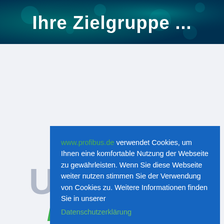[Figure (screenshot): Top banner with teal/dark blue bokeh background and bold white text 'Ihre Zielgruppe ...']
www.profibus.de verwendet Cookies, um Ihnen eine komfortable Nutzung der Webseite zu gewährleisten. Wenn Sie diese Webseite weiter nutzen stimmen Sie der Verwendung von Cookies zu. Weitere Informationen finden Sie in unserer Datenschutzerklärung
Verstanden